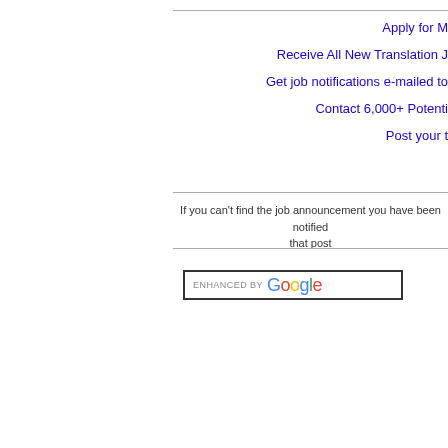Apply for M
Receive All New Translation J
Get job notifications e-mailed to
Contact 6,000+ Potenti
Post your t
If you can't find the job announcement you have been notified that post
[Figure (screenshot): Google enhanced search box with 'ENHANCED BY Google' label inside a bordered input field]